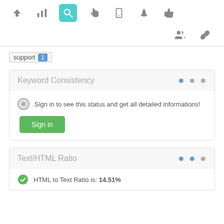[Figure (screenshot): Top navigation bar with icons: up arrow, bar chart, search (active/highlighted in teal), hand/cursor, mobile, rocket, thumbs up. Below: people group icon and chain link icon on right side.]
support 1
Keyword Consistency
Sign in to see this status and get all detailed informations!
Sign in
Text/HTML Ratio
HTML to Text Ratio is: 14.51%